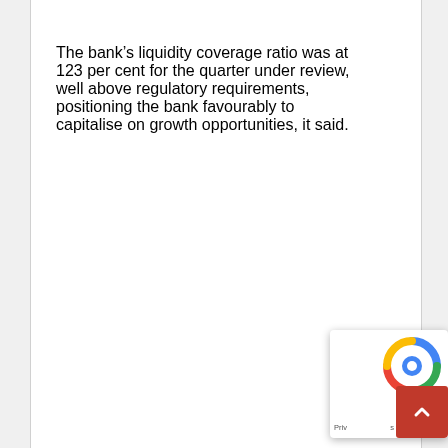The bank's liquidity coverage ratio was at 123 per cent for the quarter under review, well above regulatory requirements, positioning the bank favourably to capitalise on growth opportunities, it said.